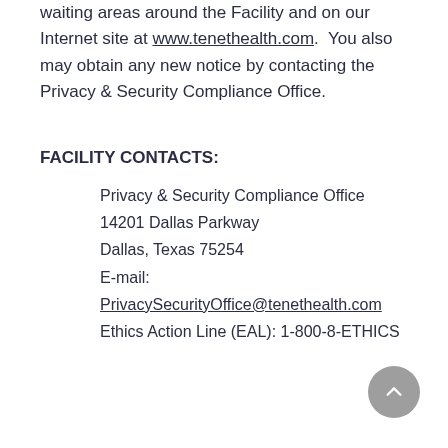waiting areas around the Facility and on our Internet site at www.tenethealth.com. You also may obtain any new notice by contacting the Privacy & Security Compliance Office.
FACILITY CONTACTS:
Privacy & Security Compliance Office
14201 Dallas Parkway
Dallas, Texas 75254
E-mail:
PrivacySecurityOffice@tenethealth.com
Ethics Action Line (EAL): 1-800-8-ETHICS